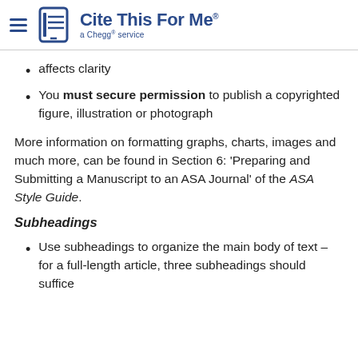Cite This For Me — a Chegg service
affects clarity
You must secure permission to publish a copyrighted figure, illustration or photograph
More information on formatting graphs, charts, images and much more, can be found in Section 6: 'Preparing and Submitting a Manuscript to an ASA Journal' of the ASA Style Guide.
Subheadings
Use subheadings to organize the main body of text – for a full-length article, three subheadings should suffice